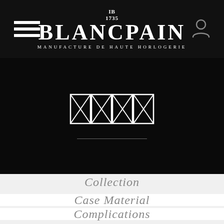[Figure (logo): Blancpain luxury watch brand header with hamburger menu, brand logo centered (IB 1735 monogram, BLANCPAIN name, MANUFACTURE DE HAUTE HORLOGERIE tagline), and user account icon]
[Figure (illustration): Dark hero section with Blancpain guilloche/cross-hatch rectangular watch face icon and a thin horizontal divider line below it]
Collection
Case Material
Complications